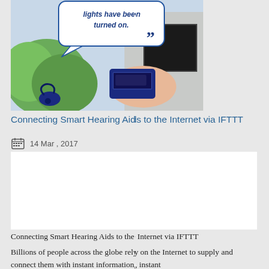[Figure (photo): Photo of a hand holding a blue remote control device near a mailbox/garage, with a speech bubble saying 'lights have been turned on.' and a blue hearing aid visible in the foreground. Background includes green foliage.]
Connecting Smart Hearing Aids to the Internet via IFTTT
14 Mar , 2017
Connecting Smart Hearing Aids to the Internet via IFTTT
Billions of people across the globe rely on the Internet to supply and connect them with instant information, instant